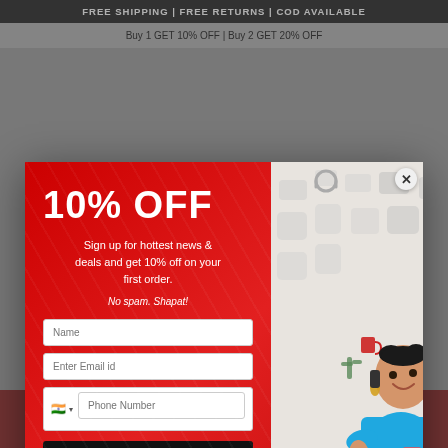FREE SHIPPING | FREE RETURNS | COD AVAILABLE
Buy 1 GET 10% OFF | Buy 2 GET 20% OFF
[Figure (screenshot): E-commerce popup modal with red left panel offering 10% OFF discount for newsletter signup with name, email and phone fields and a 'Get My Discount Code' button, and right panel showing a woman in a blue dress]
10% OFF
Sign up for hottest news & deals and get 10% off on your first order.
No spam. Shapat!
What's Special here?
ADD TO CART